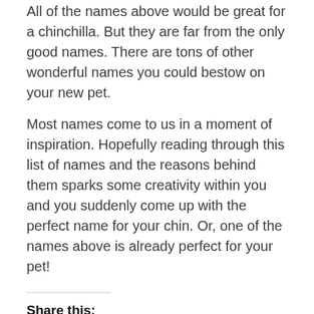All of the names above would be great for a chinchilla. But they are far from the only good names. There are tons of other wonderful names you could bestow on your new pet.
Most names come to us in a moment of inspiration. Hopefully reading through this list of names and the reasons behind them sparks some creativity within you and you suddenly come up with the perfect name for your chin. Or, one of the names above is already perfect for your pet!
Share this:
[Figure (infographic): Three social media share buttons: Facebook (blue circle), Pinterest (red circle), Twitter (cyan circle)]